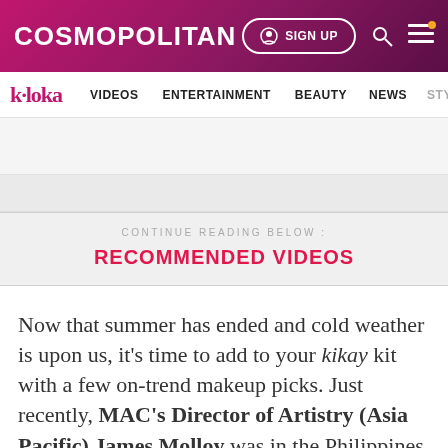COSMOPOLITAN | SIGN UP
k·loka  VIDEOS  ENTERTAINMENT  BEAUTY  NEWS  STYLE
CONTINUE READING BELOW :
RECOMMENDED VIDEOS
Now that summer has ended and cold weather is upon us, it's time to add to your kikay kit with a few on-trend makeup picks. Just recently, MAC's Director of Artistry (Asia Pacific) James Molloy was in the Philippines to fill us in on four beauty looks that made it big on the runways and will b…